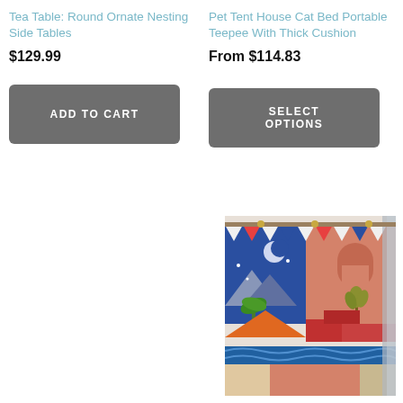Tea Table: Round Ornate Nesting Side Tables
$129.99
[Figure (other): ADD TO CART button, dark grey rounded rectangle]
Pet Tent House Cat Bed Portable Teepee With Thick Cushion
From $114.83
[Figure (other): SELECT OPTIONS button, dark grey rounded rectangle]
[Figure (photo): Photo of a colorful decorative wall hanging/banner with illustrated scenes including mountains, moon, palm tree, sun, ocean waves in orange, blue, red, and white colors, hanging indoors near a window with sheer curtains]